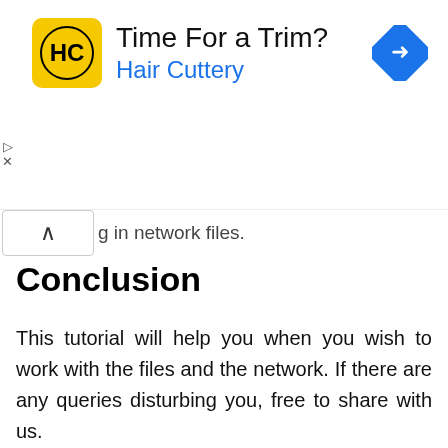[Figure (advertisement): Hair Cuttery advertisement banner with yellow logo featuring HC initials, text 'Time For a Trim?' and 'Hair Cuttery' in blue, and a blue diamond-shaped navigation arrow icon on the right.]
g in network files.
Conclusion
This tutorial will help you when you wish to work with the files and the network. If there are any queries disturbing you, free to share with us.
RECOMMENDED: Click here to fix Windows errors